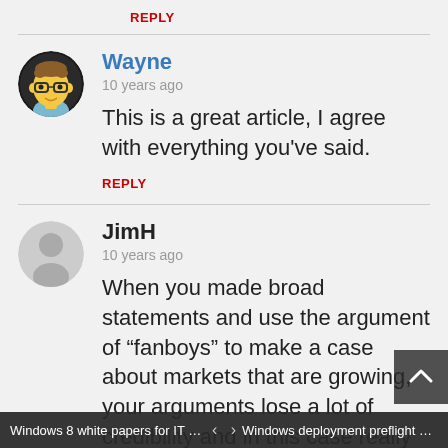REPLY
Wayne
10 years ago

This is a great article, I agree with everything you've said.

REPLY
JimH
10 years ago

When you made broad statements and use the argument of “fanboys” to make a case about markets that are growing, your arguments lose a lot of credibility and in this case really sound like... dare I say it...
Windows 8 white papers for IT pros   ‹   ›   Windows deployment preflight che…